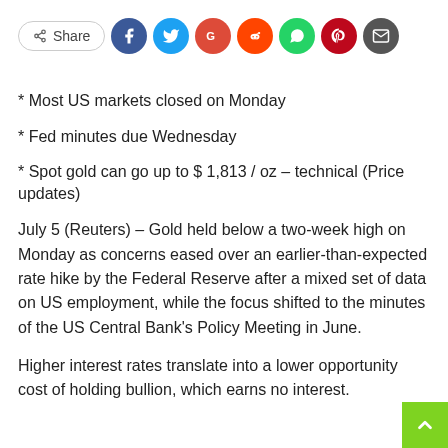[Figure (infographic): Social share bar with Share button and icons for Facebook, Twitter, Google, Reddit, WhatsApp, Pinterest, and Email]
* Most US markets closed on Monday
* Fed minutes due Wednesday
* Spot gold can go up to $ 1,813 / oz – technical (Price updates)
July 5 (Reuters) – Gold held below a two-week high on Monday as concerns eased over an earlier-than-expected rate hike by the Federal Reserve after a mixed set of data on US employment, while the focus shifted to the minutes of the US Central Bank's Policy Meeting in June.
Higher interest rates translate into a lower opportunity cost of holding bullion, which earns no interest.